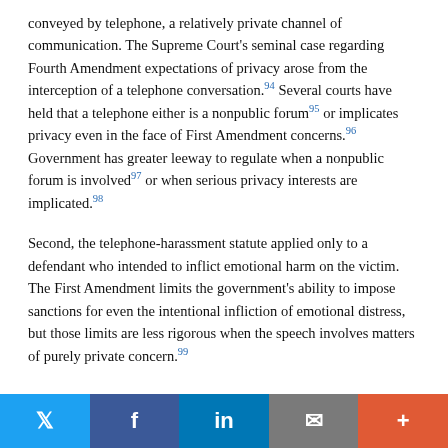conveyed by telephone, a relatively private channel of communication. The Supreme Court's seminal case regarding Fourth Amendment expectations of privacy arose from the interception of a telephone conversation.94 Several courts have held that a telephone either is a nonpublic forum95 or implicates privacy even in the face of First Amendment concerns.96 Government has greater leeway to regulate when a nonpublic forum is involved97 or when serious privacy interests are implicated.98
Second, the telephone-harassment statute applied only to a defendant who intended to inflict emotional harm on the victim. The First Amendment limits the government's ability to impose sanctions for even the intentional infliction of emotional distress, but those limits are less rigorous when the speech involves matters of purely private concern.99
Twitter | Facebook | LinkedIn | Email | More